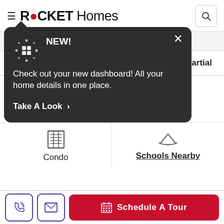ROCKET Homes
[Figure (screenshot): Tooltip popup with dark background showing 'NEW! Check out your new dashboard! All your home details in one place. Take A Look >']
~$3,500/mo.*
2 Full Baths, 1 Partial
1,425 SqFt
$516/SqFt
Condo
Schools Nearby
Schedule A Tour